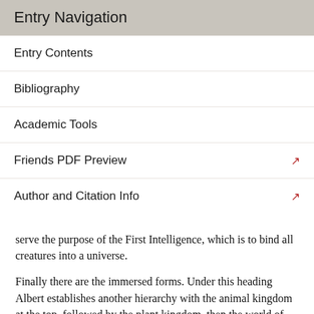Entry Navigation
Entry Contents
Bibliography
Academic Tools
Friends PDF Preview
Author and Citation Info
serve the purpose of the First Intelligence, which is to bind all creatures into a universe.
Finally there are the immersed forms. Under this heading Albert establishes another hierarchy with the animal kingdom at the top, followed by the plant kingdom, then the world of minerals (in which Albert had a deep interest), and finally the elements of material creation.
5. Psychology and Anthropology